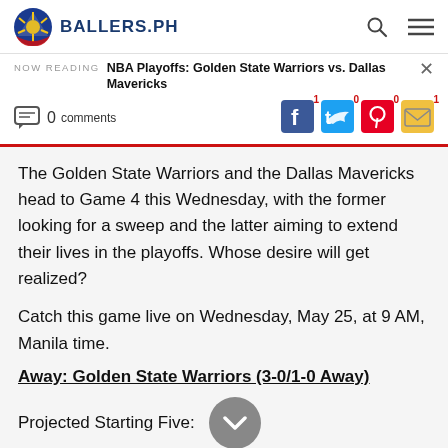BALLERS.PH
NOW READING  NBA Playoffs: Golden State Warriors vs. Dallas Mavericks
0 comments  1  0  0  1
The Golden State Warriors and the Dallas Mavericks head to Game 4 this Wednesday, with the former looking for a sweep and the latter aiming to extend their lives in the playoffs. Whose desire will get realized?
Catch this game live on Wednesday, May 25, at 9 AM, Manila time.
Away: Golden State Warriors (3-0/1-0 Away)
Projected Starting Five: